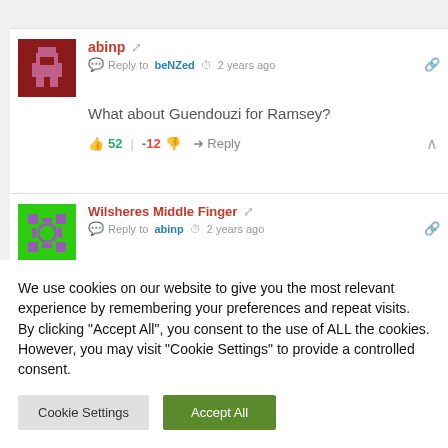abinp · Reply to beNZed · 2 years ago
What about Guendouzi for Ramsey?
52 | -12 · Reply
Wilsheres Middle Finger · Reply to abinp · 2 years ago
We use cookies on our website to give you the most relevant experience by remembering your preferences and repeat visits. By clicking "Accept All", you consent to the use of ALL the cookies. However, you may visit "Cookie Settings" to provide a controlled consent.